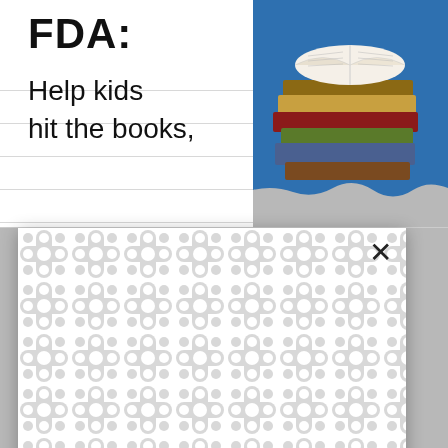[Figure (screenshot): FDA advertisement banner showing 'FDA: Help kids hit the books,' text with a stack of books photo on the right, partially visible at top of page]
[Figure (screenshot): An advertisement popup overlay with a white background covered in a gray chain-link/organic blob pattern, with an X close button in the top right corner, overlapping the article text below]
And th[e decisions] look ve[ry different fro]m Feldma[n, who mine]s data for insights into the justices. Each of the conservative justices joined the liberals to form a five-justice majority on at least one case, with Justice Samuel A. Alito Jr. doing so for the first